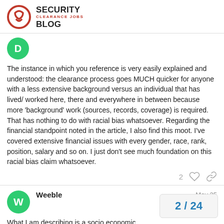SECURITY CLEARANCE JOBS BLOG
[Figure (logo): Security Clearance Jobs Blog logo with stylized 'S' icon in red, text reading SECURITY CLEARANCE JOBS BLOG]
The instance in which you reference is very easily explained and understood: the clearance process goes MUCH quicker for anyone with a less extensive background versus an individual that has lived/ worked here, there and everywhere in between because more ‘background’ work (sources, records, coverage) is required. That has nothing to do with racial bias whatsoever. Regarding the financial standpoint noted in the article, I also find this moot. I’ve covered extensive financial issues with every gender, race, rank, position, salary and so on. I just don’t see much foundation on this racial bias claim whatsoever.
2
Weeble   May 25
What I am describing is a socio economic
2 / 24